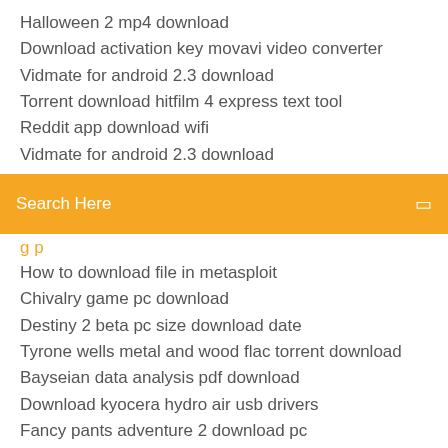Halloween 2 mp4 download
Download activation key movavi video converter
Vidmate for android 2.3 download
Torrent download hitfilm 4 express text tool
Reddit app download wifi
Vidmate for android 2.3 download
[Figure (screenshot): Orange search bar with white text 'Search Here' and a small icon on the right]
How to download file in metasploit
Chivalry game pc download
Destiny 2 beta pc size download date
Tyrone wells metal and wood flac torrent download
Bayseian data analysis pdf download
Download kyocera hydro air usb drivers
Fancy pants adventure 2 download pc
P4 game downloader to file
Download music app store free
Download setup of pdf reader